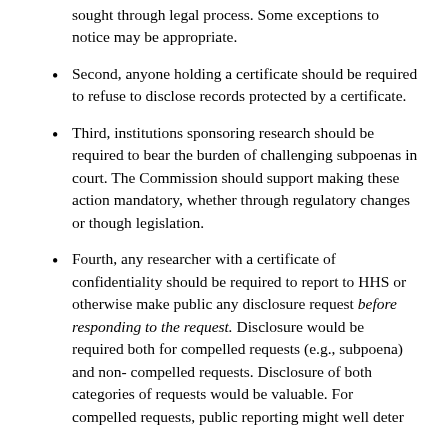sought through legal process. Some exceptions to notice may be appropriate.
Second, anyone holding a certificate should be required to refuse to disclose records protected by a certificate.
Third, institutions sponsoring research should be required to bear the burden of challenging subpoenas in court. The Commission should support making these action mandatory, whether through regulatory changes or though legislation.
Fourth, any researcher with a certificate of confidentiality should be required to report to HHS or otherwise make public any disclosure request before responding to the request. Disclosure would be required both for compelled requests (e.g., subpoena) and non- compelled requests. Disclosure of both categories of requests would be valuable. For compelled requests, public reporting might well deter